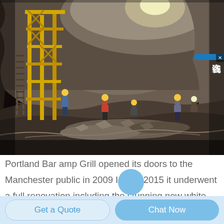[Figure (photo): Underground tunnel construction site with workers wearing hard hats, yellow scaffolding/drilling equipment on the left, rocky cave walls, and rubble on the ground. A chat widget overlay with Chinese characters 在线咨询 (Online Consultation) appears in the top-right corner.]
Portland Bar amp Grill opened its doors to the Manchester public in 2009 In late 2015 it underwent a full renovation including the stunning new white bar Over the years the combination of stylish d 233 cor good food and great service has